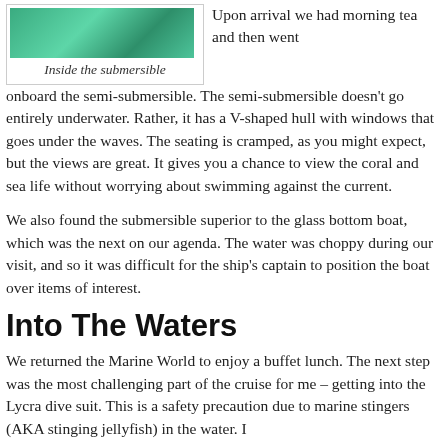[Figure (photo): Photo taken inside the submersible showing green/teal underwater view through windows.]
Inside the submersible
Upon arrival we had morning tea and then went onboard the semi-submersible. The semi-submersible doesn't go entirely underwater. Rather, it has a V-shaped hull with windows that goes under the waves. The seating is cramped, as you might expect, but the views are great. It gives you a chance to view the coral and sea life without worrying about swimming against the current.
We also found the submersible superior to the glass bottom boat, which was the next on our agenda. The water was choppy during our visit, and so it was difficult for the ship's captain to position the boat over items of interest.
Into The Waters
We returned the Marine World to enjoy a buffet lunch. The next step was the most challenging part of the cruise for me – getting into the Lycra dive suit. This is a safety precaution due to marine stingers (AKA stinging jellyfish) in the water. I